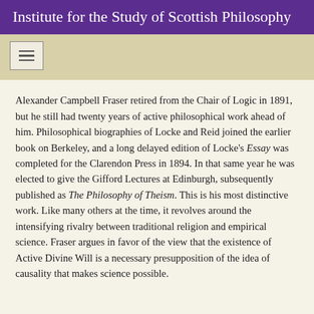Institute for the Study of Scottish Philosophy
Alexander Campbell Fraser retired from the Chair of Logic in 1891, but he still had twenty years of active philosophical work ahead of him. Philosophical biographies of Locke and Reid joined the earlier book on Berkeley, and a long delayed edition of Locke's Essay was completed for the Clarendon Press in 1894. In that same year he was elected to give the Gifford Lectures at Edinburgh, subsequently published as The Philosophy of Theism. This is his most distinctive work. Like many others at the time, it revolves around the intensifying rivalry between traditional religion and empirical science. Fraser argues in favor of the view that the existence of Active Divine Will is a necessary presupposition of the idea of causality that makes science possible.